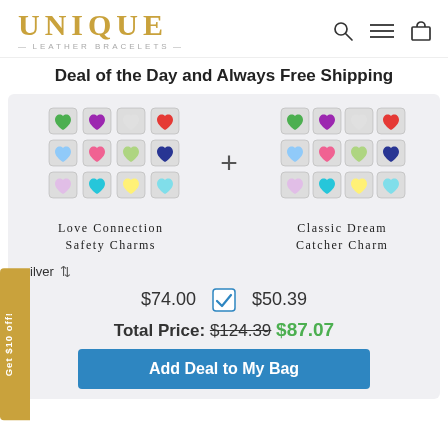[Figure (logo): Unique Leather Bracelets logo with golden serif text and decorative subtitle]
Deal of the Day and Always Free Shipping
[Figure (photo): Love Connection Safety Charms - grid of colorful heart-shaped silver charms]
[Figure (photo): Classic Dream Catcher Charm - grid of colorful heart-shaped silver charms]
Love Connection Safety Charms
Classic Dream Catcher Charm
ilver  ⬍
$74.00  ✓  $50.39
Total Price: $124.39 $87.07
Add Deal to My Bag